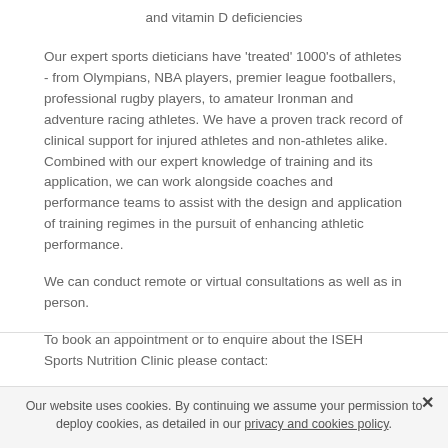and vitamin D deficiencies
Our expert sports dieticians have 'treated' 1000's of athletes - from Olympians, NBA players, premier league footballers, professional rugby players, to amateur Ironman and adventure racing athletes. We have a proven track record of clinical support for injured athletes and non-athletes alike. Combined with our expert knowledge of training and its application, we can work alongside coaches and performance teams to assist with the design and application of training regimes in the pursuit of enhancing athletic performance.
We can conduct remote or virtual consultations as well as in person.
To book an appointment or to enquire about the ISEH Sports Nutrition Clinic please contact:
Tel: +44 (0)20 3447 2800
Our website uses cookies. By continuing we assume your permission to deploy cookies, as detailed in our privacy and cookies policy.